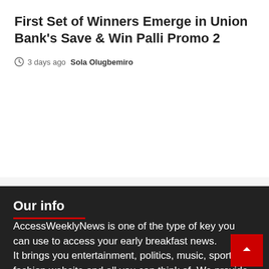First Set of Winners Emerge in Union Bank's Save & Win Palli Promo 2
3 days ago  Sola Olugbemiro
Our info
AccessWeeklyNews is one of the type of key you can use to access your early breakfast news. It brings you entertainment, politics, music, sport, fashion website and all you can think of. We provide you with the latest breaking news and videos straight from the entertainment industry.